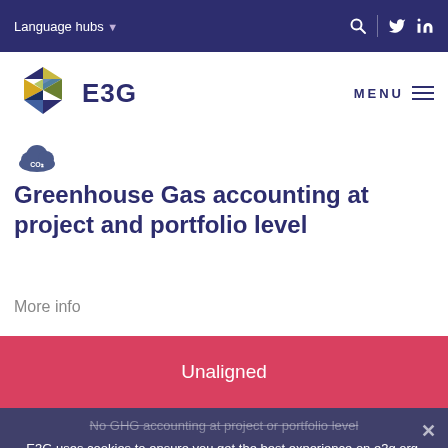Language hubs
[Figure (logo): E3G hexagonal geometric logo with triangles in blue, yellow, dark blue, and green]
Greenhouse Gas accounting at project and portfolio level
More info
Unaligned
No GHG accounting at project or portfolio level
E3G uses cookies to ensure you get the best experience on e3g.org. Read our privacy policy
Accept